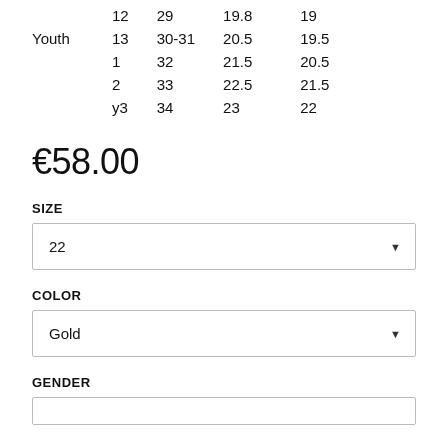|  |  |  |  |  |
| --- | --- | --- | --- | --- |
|  | 12 | 29 | 19.8 |  | 19 |
| Youth | 13 | 30-31 | 20.5 |  | 19.5 |
|  | 1 | 32 | 21.5 |  | 20.5 |
|  | 2 | 33 | 22.5 |  | 21.5 |
|  | y3 | 34 | 23 |  | 22 |
€58.00
SIZE
22
COLOR
Gold
GENDER